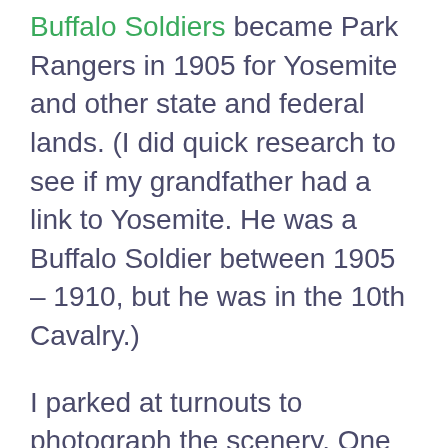Buffalo Soldiers became Park Rangers in 1905 for Yosemite and other state and federal lands. (I did quick research to see if my grandfather had a link to Yosemite. He was a Buffalo Soldier between 1905 – 1910, but he was in the 10th Cavalry.)
I parked at turnouts to photograph the scenery. One of my 'wow' moments was when I saw Tenaya Lake, adjacent to Route 120.  The lake is at 8,150 feet elevation. I was